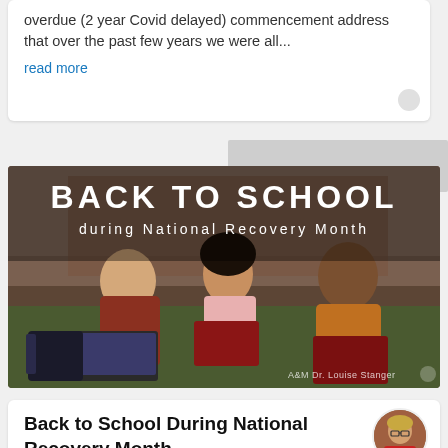overdue (2 year Covid delayed) commencement address that over the past few years we were all...
read more
[Figure (photo): Back to School during National Recovery Month banner image showing three college students sitting outdoors on grass studying together with laptops and books. Text overlay reads BACK TO SCHOOL during National Recovery Month. Small watermark text at bottom right: A&M Dr. Louise Stanger]
Back to School During National Recovery Month